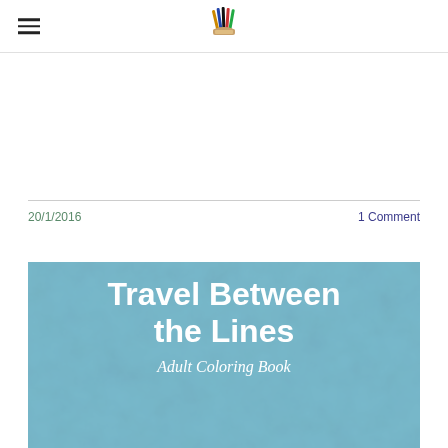[Logo: colored pencils illustration] [Hamburger menu icon]
20/1/2016
1 Comment
[Figure (illustration): Book cover for 'Travel Between the Lines Adult Coloring Book' with blue watercolor texture background and large white text]